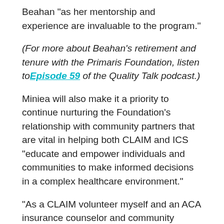Beahan “as her mentorship and experience are invaluable to the program.”
(For more about Beahan’s retirement and tenure with the Primaris Foundation, listen to Episode 59 of the Quality Talk podcast.)
Miniea will also make it a priority to continue nurturing the Foundation’s relationship with community partners that are vital in helping both CLAIM and ICS “educate and empower individuals and communities to make informed decisions in a complex healthcare environment.”
“As a CLAIM volunteer myself and an ACA insurance counselor and community health worker, I know how challenging the work we all do can be – and how